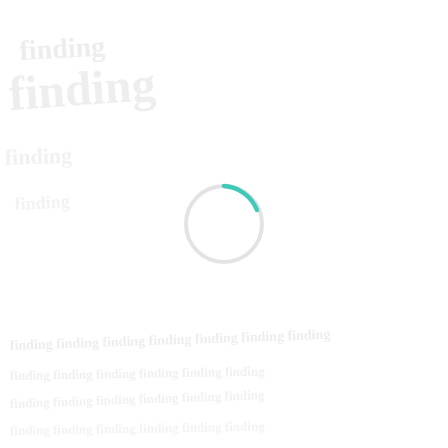[Figure (other): A loading spinner (circular progress indicator) centered on a white background. The spinner is a large circle outline in light gray with a teal/cyan arc segment at the top-right, indicating a loading state. Behind it, very faint watermark-like text reading 'finding' appears in light gray.]